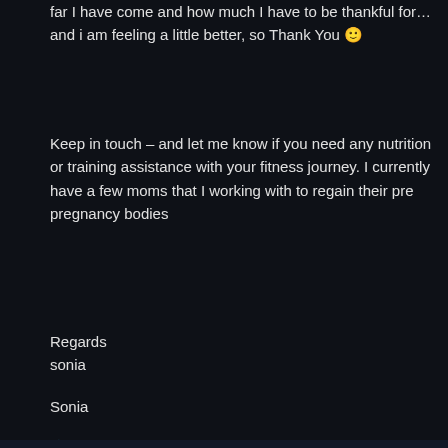far I have come and how much I have to be thankful for… and i am feeling a little better, so Thank You 🙂
Keep in touch – and let me know if you need any nutrition or training assistance with your fitness journey. I currently have a few moms that I working with to regain their pre pregnancy bodies
Regards
sonia
Sonia
★ Like
Privacy & Cookies: This site uses cookies. By continuing to use this website, you agree to their use.
To find out more, including how to control cookies, see here: Cookie Policy
Close and accept